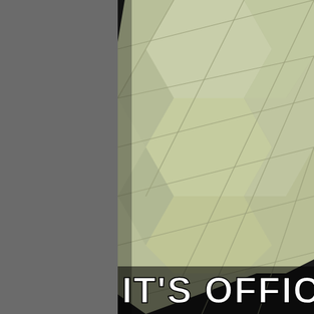[Figure (photo): Close-up photo of a green quilted fabric cushion or blanket inside a car, with dark car interior elements visible on the right side. Left portion of the image is covered by a solid gray bar.]
IT'S OFFICIA